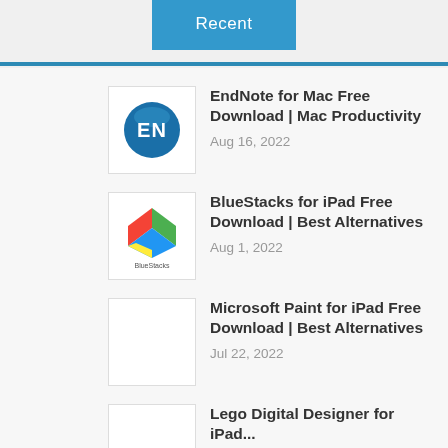Recent
EndNote for Mac Free Download | Mac Productivity
Aug 16, 2022
BlueStacks for iPad Free Download | Best Alternatives
Aug 1, 2022
Microsoft Paint for iPad Free Download | Best Alternatives
Jul 22, 2022
Lego Digital Designer for iPad...